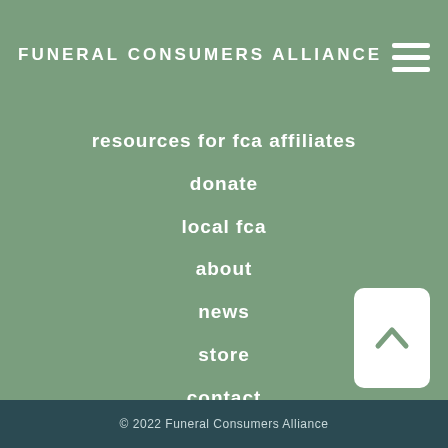FUNERAL CONSUMERS ALLIANCE
resources for fca affiliates
donate
local fca
about
news
store
contact
© 2022 Funeral Consumers Alliance